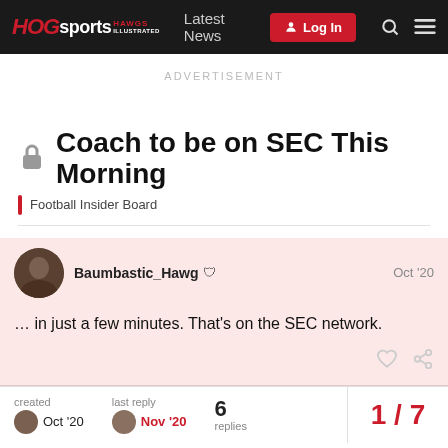HOGsports HAWGS ILLUSTRATED | Latest News | Log In
ADVERTISEMENT
Coach to be on SEC This Morning
Football Insider Board
Baumbastic_Hawg  Oct '20
… in just a few minutes. That's on the SEC network.
created Oct '20  last reply Nov '20  6 replies  1 / 7